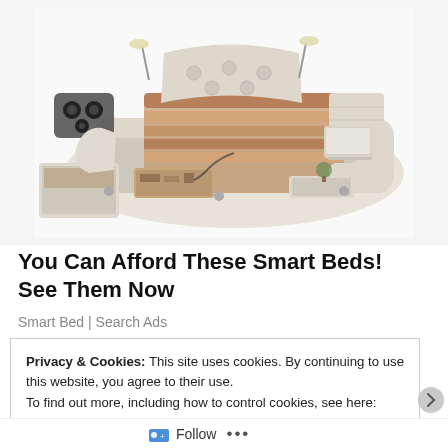[Figure (photo): A luxurious multi-functional smart bed with cream/beige upholstery, featuring built-in speakers, storage drawers, massage chair attachments, reading lamps, a laptop stand, and various compartments. Shown in an exploded/open view revealing all features.]
You Can Afford These Smart Beds! See Them Now
Smart Bed | Search Ads
Privacy & Cookies: This site uses cookies. By continuing to use this website, you agree to their use.
To find out more, including how to control cookies, see here: Cookie Policy
Close and accept
Follow ...